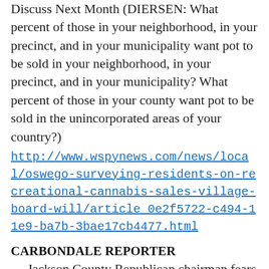Discuss Next Month (DIERSEN: What percent of those in your neighborhood, in your precinct, and in your municipality want pot to be sold in your neighborhood, in your precinct, and in your municipality? What percent of those in your county want pot to be sold in the unincorporated areas of your country?)
http://www.wspynews.com/news/local/oswego-surveying-residents-on-recreational-cannabis-sales-village-board-will/article_0e2f5722-c494-11e9-ba7b-3bae17cb4477.html
CARBONDALE REPORTER
— Jackson County Republican chairman fears impact of expanded gambling — Glenn Minnis